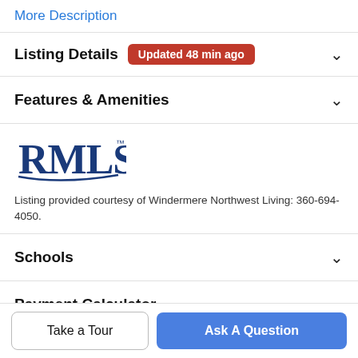More Description
Listing Details Updated 48 min ago
Features & Amenities
[Figure (logo): RMLS logo in blue serif font with decorative underline]
Listing provided courtesy of Windermere Northwest Living: 360-694-4050.
Schools
Payment Calculator
Take a Tour
Ask A Question